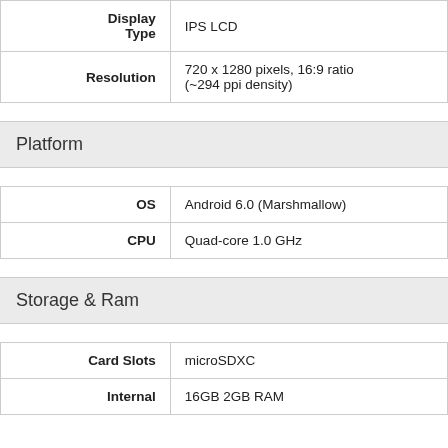| Spec | Value |
| --- | --- |
| Display Type | IPS LCD |
| Resolution | 720 x 1280 pixels, 16:9 ratio (~294 ppi density) |
Platform
| Spec | Value |
| --- | --- |
| OS | Android 6.0 (Marshmallow) |
| CPU | Quad-core 1.0 GHz |
Storage & Ram
| Spec | Value |
| --- | --- |
| Card Slots | microSDXC |
| Internal | 16GB 2GB RAM |